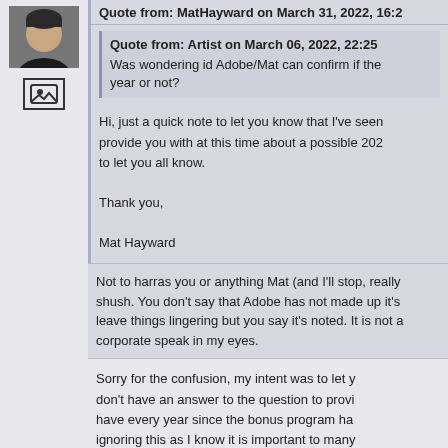[Figure (photo): Avatar photo of a person in a black shirt, cropped head and shoulders]
[Figure (other): Small badge/icon with a picture frame symbol]
Quote from: MatHayward on March 31, 2022, 16:2
Quote from: Artist on March 06, 2022, 22:25
Was wondering id Adobe/Mat can confirm if the year or not?
Hi, just a quick note to let you know that I've seen provide you with at this time about a possible 202 to let you all know.

Thank you,

Mat Hayward
Not to harras you or anything Mat (and I'll stop, really shush. You don't say that Adobe has not made up it's leave things lingering but you say it's noted. It is not a corporate speak in my eyes.
Sorry for the confusion, my intent was to let y don't have an answer to the question to provi have every year since the bonus program ha ignoring this as I know it is important to many
-Mat